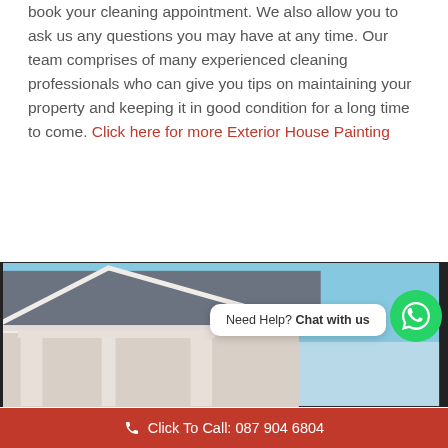book your cleaning appointment. We also allow you to ask us any questions you may have at any time. Our team comprises of many experienced cleaning professionals who can give you tips on maintaining your property and keeping it in good condition for a long time to come. Click here for more Exterior House Painting
[Figure (photo): Exterior view of a house rooftop with grey tiles and white fascia boards against a blue sky, with a WhatsApp chat bubble overlay saying 'Need Help? Chat with us']
Click To Call: 087 904 6804